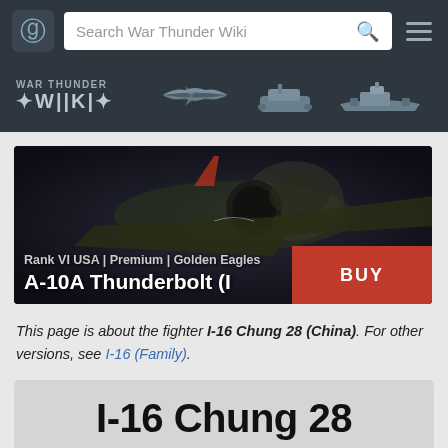Search War Thunder Wiki
[Figure (screenshot): War Thunder Wiki navigation header with logo, aircraft, tank, and ship silhouette icons on dark background]
[Figure (photo): A-10A Thunderbolt II aircraft advertisement banner with BUY button. Text: Rank VI USA | Premium | Golden Eagles / A-10A Thunderbolt II]
This page is about the fighter I-16 Chung 28 (China). For other versions, see I-16 (Family).
I-16 Chung 28
I-153 M-62   I-16 type 5